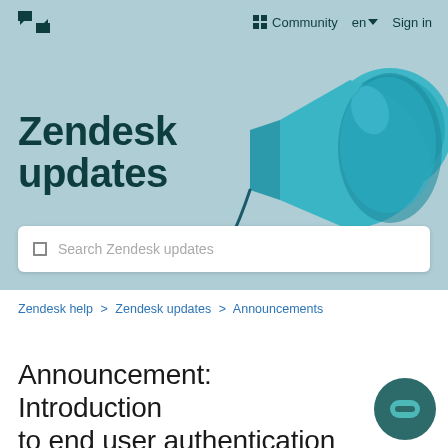Zendesk logo | Community  en  Sign in
[Figure (illustration): Hero banner with light blue/teal background showing a teal megaphone/bullhorn lying on its side, with bold text 'Zendesk updates' on the left and a search bar below]
Zendesk updates
Search Zendesk updates
Zendesk help > Zendesk updates > Announcements
Announcement: Introduction to end user authentication in